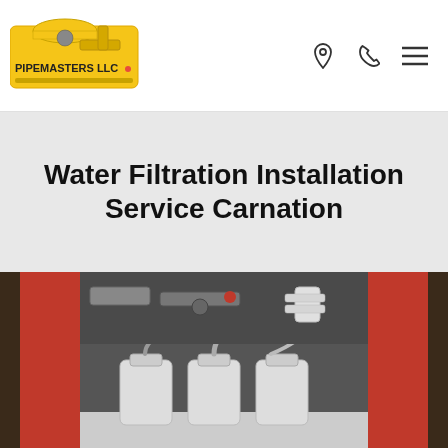PIPEMASTERS LLC
Water Filtration Installation Service Carnation
[Figure (photo): Under-sink water filtration system with three white filter canisters and white PVC pipes, installed inside a cabinet with red interior panels, surrounded by various hoses and fittings.]